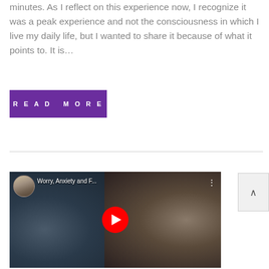minutes. As I reflect on this experience now, I recognize it was a peak experience and not the consciousness in which I live my daily life, but I wanted to share it because of what it points to. It is…
READ MORE
[Figure (screenshot): YouTube video thumbnail showing two people (a man and a woman), with title 'Worry, Anxiety and F...' and a red YouTube play button in the center. A small circular profile image appears in the top-left corner.]